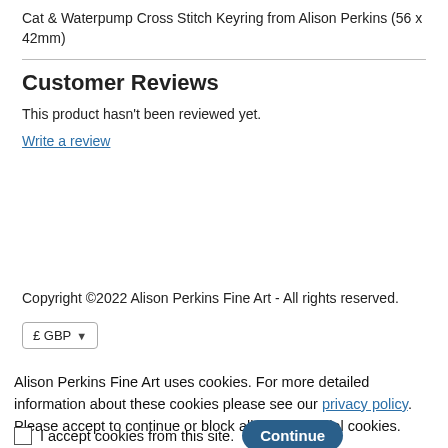Cat & Waterpump Cross Stitch Keyring from Alison Perkins (56 x 42mm)
Customer Reviews
This product hasn't been reviewed yet.
Write a review
Copyright ©2022 Alison Perkins Fine Art - All rights reserved.
£ GBP ▾
Alison Perkins Fine Art uses cookies. For more detailed information about these cookies please see our privacy policy. Please accept to continue or block all non-essential cookies.
I accept cookies from this site. Continue